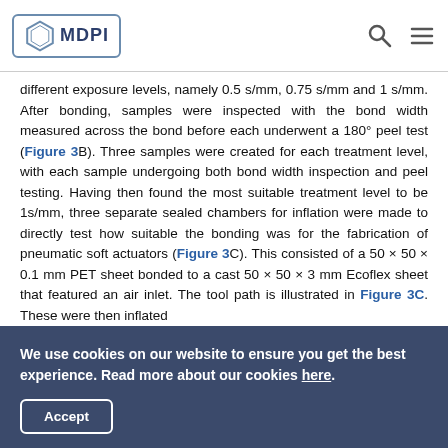MDPI
different exposure levels, namely 0.5 s/mm, 0.75 s/mm and 1 s/mm. After bonding, samples were inspected with the bond width measured across the bond before each underwent a 180° peel test (Figure 3B). Three samples were created for each treatment level, with each sample undergoing both bond width inspection and peel testing. Having then found the most suitable treatment level to be 1s/mm, three separate sealed chambers for inflation were made to directly test how suitable the bonding was for the fabrication of pneumatic soft actuators (Figure 3C). This consisted of a 50 × 50 × 0.1 mm PET sheet bonded to a cast 50 × 50 × 3 mm Ecoflex sheet that featured an air inlet. The tool path is illustrated in Figure 3C. These were then inflated
We use cookies on our website to ensure you get the best experience. Read more about our cookies here.
Accept